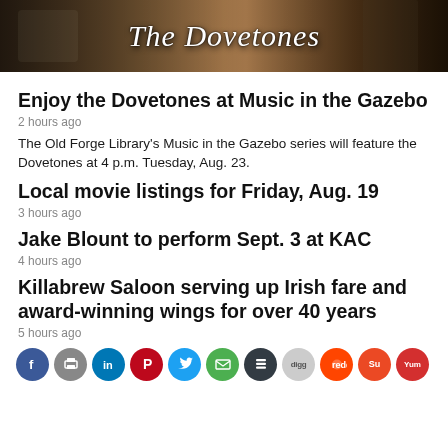[Figure (photo): Banner photo of musicians with text 'The Dovetones' overlaid in italic script]
Enjoy the Dovetones at Music in the Gazebo
2 hours ago
The Old Forge Library's Music in the Gazebo series will feature the Dovetones at 4 p.m. Tuesday, Aug. 23.
Local movie listings for Friday, Aug. 19
3 hours ago
Jake Blount to perform Sept. 3 at KAC
4 hours ago
Killabrew Saloon serving up Irish fare and award-winning wings for over 40 years
5 hours ago
[Figure (infographic): Social sharing icon bar with Facebook, Print, LinkedIn, Pinterest, Twitter, Email, Buffer, Digg, Reddit, StumbleUpon, Yummly icons]